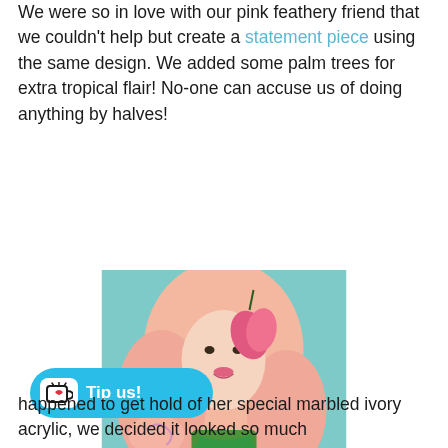We were so in love with our pink feathery friend that we couldn't help but create a statement piece using the same design. We added some palm trees for extra tropical flair! No-one can accuse us of doing anything by halves!
[Figure (photo): Woman with pink hair and a pink lily flower in her hair, wearing a tropical flamingo and palm tree necklace, posed against a teal background]
[Figure (other): Tip us! button - cyan rounded pill button with Ko-fi cup icon and heart]
happened to get hold of her special marbled ivory acrylic, we decided it looked so much